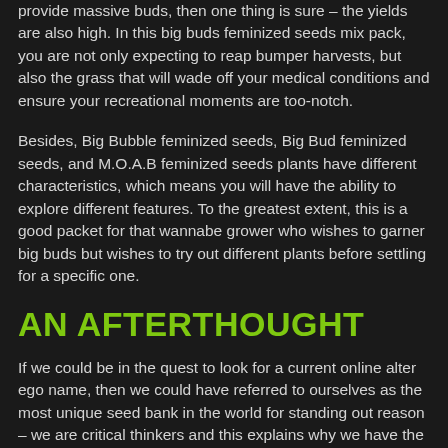provide massive buds, then one thing is sure – the yields are also high. In this big buds feminized seeds mix pack, you are not only expecting to reap bumper harvests, but also the grass that will wade off your medical conditions and ensure your recreational moments are too-notch.
Besides, Big Bubble feminized seeds, Big Bud feminized seeds, and M.O.A.B feminized seeds plants have different characteristics, which means you will have the ability to explore different features. To the greatest extent, this is a good packet for that wannabe grower who wishes to garner big buds but wishes to try out different plants before settling for a specific one.
AN AFTERTHOUGHT
If we could be in the quest to look for a current online alter ego name, then we could have referred to ourselves as the most unique seed bank in the world for standing out reason – we are critical thinkers and this explains why we have the most irresistible offers in the cannabis world.